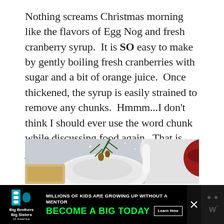Nothing screams Christmas morning like the flavors of Egg Nog and fresh cranberry syrup.  It is SO easy to make by gently boiling fresh cranberries with sugar and a bit of orange juice.  Once thickened, the syrup is easily strained to remove any chunks.  Hmmm...I don't think I should ever use the word chunk while discussing food again.  That is just too hard-hitting this time of the year.
[Figure (photo): Top-down photo of a Christmas morning scene with white ceramic dishes, a pine branch decoration, a white pitcher, and a dark red cranberry syrup in a white cup, with a decorative pillow visible.]
[Figure (infographic): Advertisement banner: Big Brothers Big Sisters of America — 'Millions of kids are growing up without a mentor. Become a Big Today' with a Learn How button in black and white, green text on black background.]